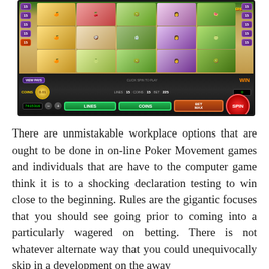[Figure (screenshot): Screenshot of a fruit-themed slot machine game called 'Kahuna Snakes & Ladders' showing reels with fruit symbols (orange, lychee, kiwi, watermelon), game controls including LINES 15, COINS 15, BET 225, coin value 0.01, balance 7415316, VIEW PAYS button, LINES button, COINS button, BET MAX button, SPIN button, and WIN display.]
There are unmistakable workplace options that are ought to be done in on-line Poker Movement games and individuals that are have to the computer game think it is to a shocking declaration testing to win close to the beginning. Rules are the gigantic focuses that you should see going prior to coming into a particularly wagered on betting. There is not whatever alternate way that you could unequivocally skip in a development on the away